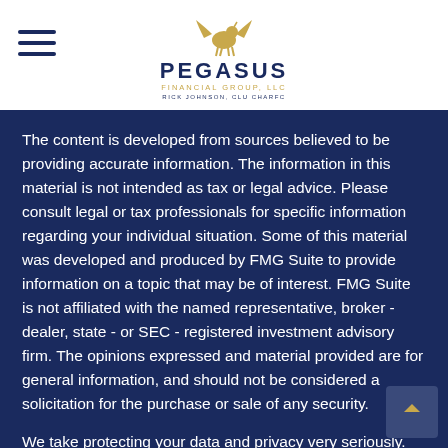[Figure (logo): Pegasus Financial Group LLC logo with hamburger menu icon on the left and winged horse emblem above the company name]
The content is developed from sources believed to be providing accurate information. The information in this material is not intended as tax or legal advice. Please consult legal or tax professionals for specific information regarding your individual situation. Some of this material was developed and produced by FMG Suite to provide information on a topic that may be of interest. FMG Suite is not affiliated with the named representative, broker - dealer, state - or SEC - registered investment advisory firm. The opinions expressed and material provided are for general information, and should not be considered a solicitation for the purchase or sale of any security.
We take protecting your data and privacy very seriously. As of January 1, 2020 the California Consumer Privacy Act (CCPA) suggests the following link as an extra measure to safeguard your data: Do not sell my personal